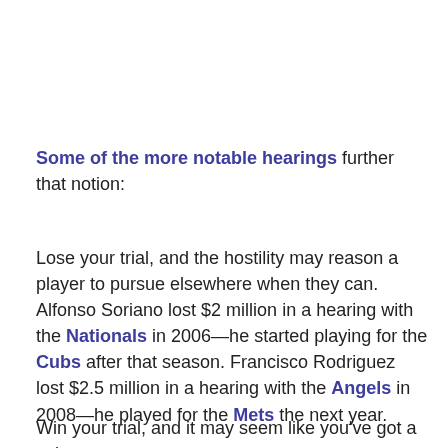Some of the more notable hearings further that notion:
Lose your trial, and the hostility may reason a player to pursue elsewhere when they can. Alfonso Soriano lost $2 million in a hearing with the Nationals in 2006—he started playing for the Cubs after that season. Francisco Rodriguez lost $2.5 million in a hearing with the Angels in 2008—he played for the Mets the next year.
Win your trial, and it may seem like you've got a voice